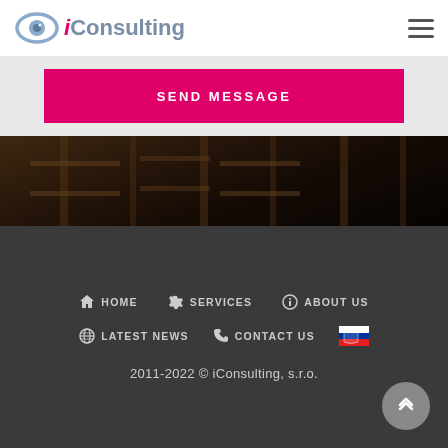iConsulting
[Figure (screenshot): Pink 'SEND MESSAGE' button on a light grey background]
[Figure (photo): Dark warehouse interior background image]
HOME | SERVICES | ABOUT US | LATEST NEWS | CONTACT US | 2011-2022 © iConsulting, s.r.o.